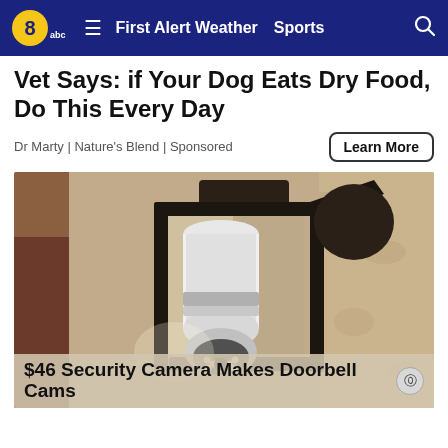8abc  ≡  First Alert Weather  Sports  🔍
Vet Says: if Your Dog Eats Dry Food, Do This Every Day
Dr Marty | Nature's Blend | Sponsored
[Figure (photo): Close-up photograph of an outdoor wall-mounted lantern-style light fixture with a white security camera bulb installed inside it, mounted on a textured stucco wall.]
$46 Security Camera Makes Doorbell Cams